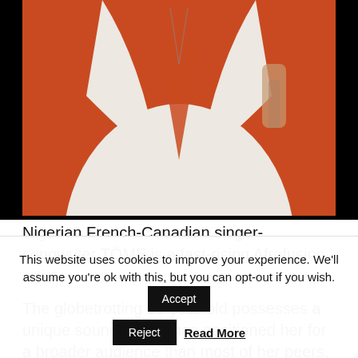[Figure (photo): Photo of a person wearing a white outfit against an orange/red background, cropped to show body from neck down]
Nigerian French-Canadian singer-songwriter TÖME is a fast-rising Afrofusion artist.
The globetrotting 23-year-old possesses a unique sound, which has positioned her for a broader audience than most of her peers. Her sophomore project, Bigger than Four Walls (stylized as BT4W)
This website uses cookies to improve your experience. We'll assume you're ok with this, but you can opt-out if you wish.
Accept
Reject
Read More